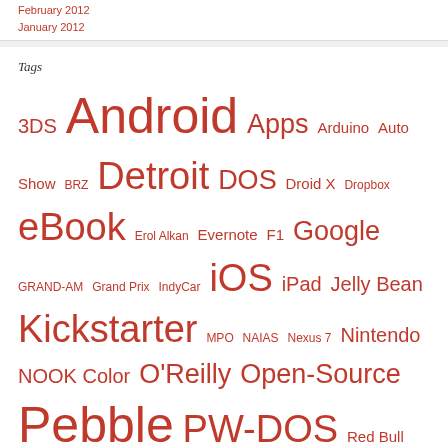February 2012
January 2012
Tags
3DS Android Apps Arduino Auto Show BRZ Detroit DOS Droid X Dropbox eBook Erol Alkan Evernote F1 Google GRAND-AM Grand Prix IndyCar iOS iPad Jelly Bean Kickstarter MPO NAIAS Nexus 7 Nintendo NOOK Color O'Reilly Open-Source Pebble PW-DOS Red Bull Retroputing Safari Books Online SDK SID SoundCloud spotify Subaru Synth The Black Ghosts Ting Todd Terje Watch Watchface